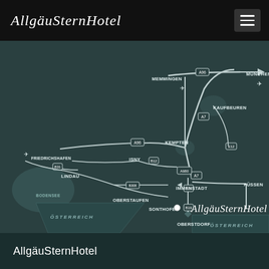AllgäuSternHotel
[Figure (map): Road map of the Allgäu region in Bavaria, Germany, showing highways (A7, A96, A980, B12, B19, B308, B31, B12, E12) and towns including München, Memmingen, Kaufbeuren, Kempten, Isny, Immenstadt, Sonthofen, Oberstdorf, Oberstaufen, Füssen, Lindau, Friedrichshafen, Bodensee. The Allgäu Stern Hotel location is marked near Sonthofen. Airport symbols appear near Memmingen, München, and Friedrichshafen. The southern border area is labeled ÖSTERREICH on both sides.]
AllgäuSternHotel